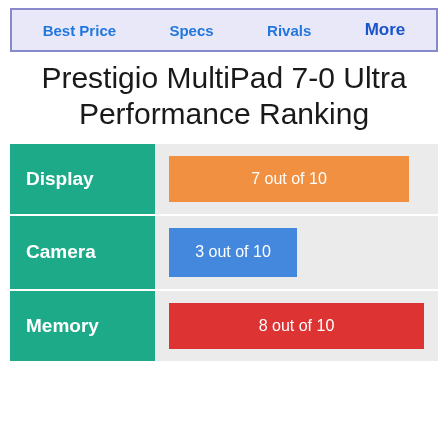Best Price   Specs   Rivals   More
Prestigio MultiPad 7-0 Ultra Performance Ranking
| Category | Score |
| --- | --- |
| Display | 7 out of 10 |
| Camera | 3 out of 10 |
| Memory | 8 out of 10 |